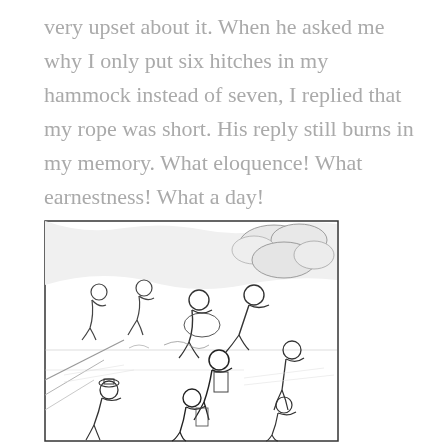very upset about it. When he asked me why I only put six hitches in my hammock instead of seven, I replied that my rope was short. His reply still burns in my memory. What eloquence! What earnestness! What a day!
[Figure (illustration): Black and white cartoon illustration showing a group of soldiers or military personnel in an outdoor scene, with several figures sitting, resting or moving about in a chaotic, humorous style.]